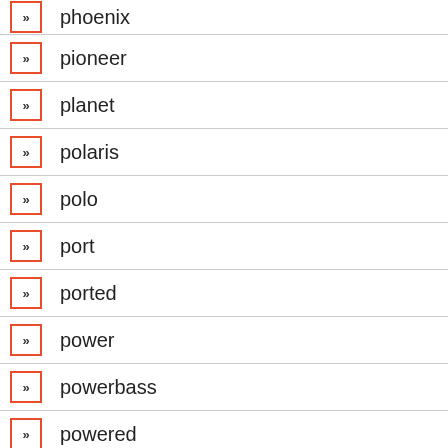phoenix
pioneer
planet
polaris
polo
port
ported
power
powerbass
powered
problems